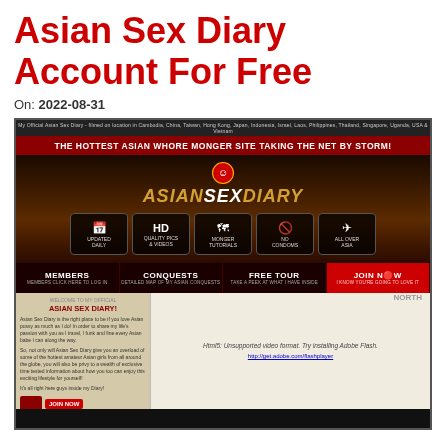Asian Sex Diary Account For Free
On: 2022-08-31
[Figure (screenshot): Screenshot of AsianSexDiary.com website showing banner, logo, feature icons, navigation bar with Members/Conquests/Free Tour/Join Now, and site content preview with welcome text and unsupported video format message.]